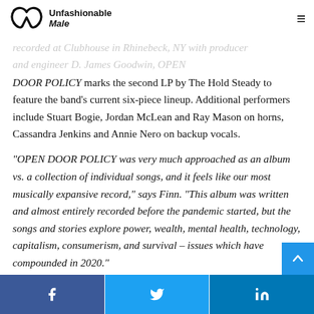Unfashionable Male
recorded at Clubhouse in Rhinebeck, NY with producer and engineer D. James Goodwin, OPEN DOOR POLICY marks the second LP by The Hold Steady to feature the band's current six-piece lineup. Additional performers include Stuart Bogie, Jordan McLean and Ray Mason on horns, Cassandra Jenkins and Annie Nero on backup vocals.
“OPEN DOOR POLICY was very much approached as an album vs. a collection of individual songs, and it feels like our most musically expansive record,” says Finn. “This album was written and almost entirely recorded before the pandemic started, but the songs and stories explore power, wealth, mental health, technology, capitalism, consumerism, and survival – issues which have compounded in 2020.”
Facebook Twitter LinkedIn